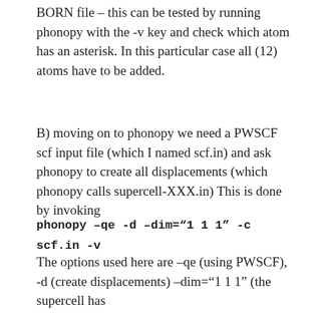BORN file – this can be tested by running phonopy with the -v key and check which atom has an asterisk. In this particular case all (12) atoms have to be added.
B) moving on to phonopy we need a PWSCF scf input file (which I named scf.in) and ask phonopy to create all displacements (which phonopy calls supercell-XXX.in) This is done by invoking
phonopy –qe -d –dim="1 1 1"  -c scf.in -v
The options used here are –qe (using PWSCF), -d (create displacements) –dim="1 1 1" (the supercell has